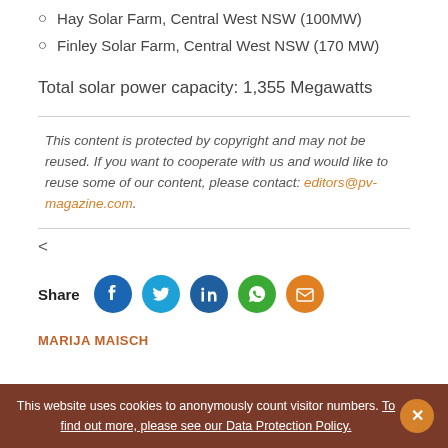Hay Solar Farm, Central West NSW (100MW)
Finley Solar Farm, Central West NSW (170 MW)
Total solar power capacity: 1,355 Megawatts
This content is protected by copyright and may not be reused. If you want to cooperate with us and would like to reuse some of our content, please contact: editors@pv-magazine.com.
<
Share
MARIJA MAISCH
This website uses cookies to anonymously count visitor numbers. To find out more, please see our Data Protection Policy.